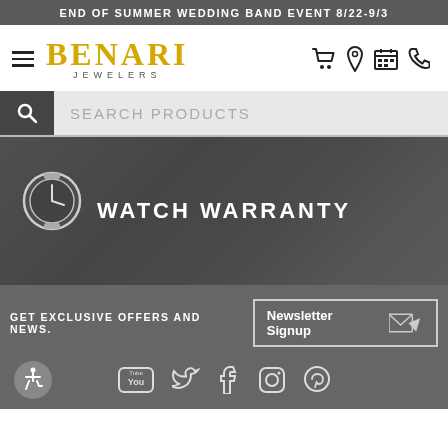END OF SUMMER WEDDING BAND EVENT 8/22-9/3
[Figure (logo): Benari Jewelers logo with hamburger menu and navigation icons (cart, location, calendar, phone)]
SEARCH PRODUCTS
WATCH WARRANTY
GET EXCLUSIVE OFFERS AND NEWS.
Newsletter Signup
[Figure (illustration): Social media icons: YouTube, Twitter, Facebook, Instagram, Pinterest]
[Figure (illustration): Accessibility icon (wheelchair)]